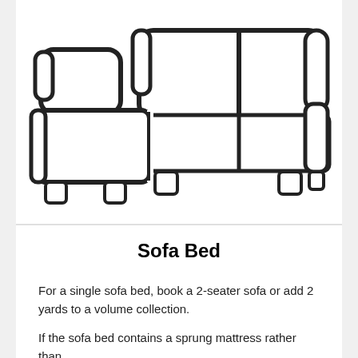[Figure (illustration): Line art illustration of an L-shaped sectional sofa viewed from front, showing two sections: a chaise/ottoman section on the left and a two-seat sofa section on the right, both with rounded armrests and visible feet.]
Sofa Bed
For a single sofa bed, book a 2-seater sofa or add 2 yards to a volume collection.
If the sofa bed contains a sprung mattress rather than